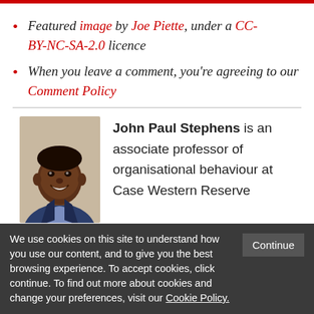Featured image by Joe Piette, under a CC-BY-NC-SA-2.0 licence
When you leave a comment, you're agreeing to our Comment Policy
[Figure (photo): Headshot photo of John Paul Stephens, a smiling man in a suit]
John Paul Stephens is an associate professor of organisational behaviour at Case Western Reserve
We use cookies on this site to understand how you use our content, and to give you the best browsing experience. To accept cookies, click continue. To find out more about cookies and change your preferences, visit our Cookie Policy.